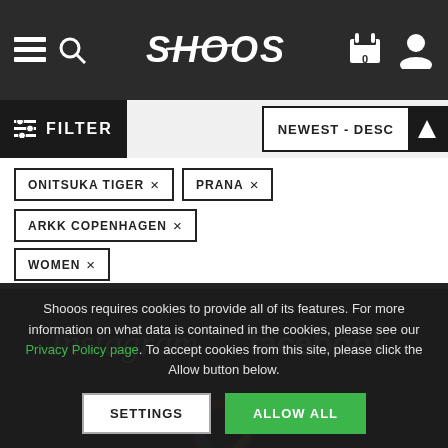SHOOOS header navigation with menu, search, cart (0), and user icons
FILTER | NEWEST - DESC
ONITSUKA TIGER ×
PRANA ×
ARKK COPENHAGEN ×
WOMEN ×
[Figure (logo): Instagram logo text in white italic script]
[Figure (logo): Facebook logo text in white bold sans-serif]
[Figure (logo): Google 'G' logo partially visible in color (red, orange, yellow, blue)]
Shooos requires cookies to provide all of its features. For more information on what data is contained in the cookies, please see our Privacy Policy page. To accept cookies from this site, please click the Allow button below.
SETTINGS
ALLOW ALL